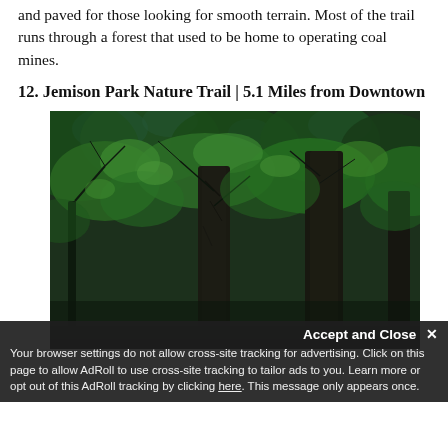and paved for those looking for smooth terrain. Most of the trail runs through a forest that used to be home to operating coal mines.
12. Jemison Park Nature Trail | 5.1 Miles from Downtown
[Figure (photo): A dense forest scene with large tree trunks and green leafy canopy, taken from below looking upward. Dark shadows contrast with bright green leaves.]
Accept and Close ✕
Your browser settings do not allow cross-site tracking for advertising. Click on this page to allow AdRoll to use cross-site tracking to tailor ads to you. Learn more or opt out of this AdRoll tracking by clicking here. This message only appears once.